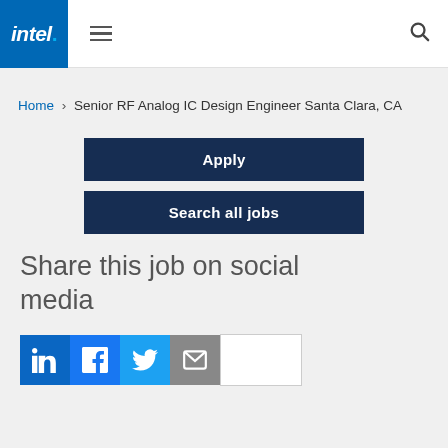[Figure (logo): Intel logo - white italic text on blue background with blue dot]
Home › Senior RF Analog IC Design Engineer Santa Clara, CA
Apply
Search all jobs
Share this job on social media
[Figure (infographic): Social media sharing icons: LinkedIn, Facebook, Twitter, Email, and a blank button]